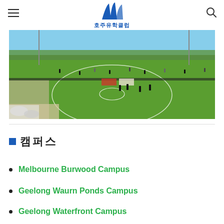호주유학클럽
[Figure (photo): Aerial view of a sports ground/football oval with players on a green grass field, surrounded by trees and buildings under a blue sky.]
캠퍼스
Melbourne Burwood Campus
Geelong Waurn Ponds Campus
Geelong Waterfront Campus